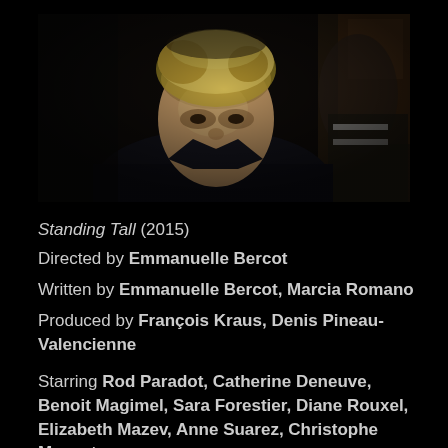[Figure (photo): Film still showing a young man with light curly hair wearing a dark jacket, looking downward, with another figure partially visible in the background]
Standing Tall (2015)
Directed by Emmanuelle Bercot
Written by Emmanuelle Bercot, Marcia Romano
Produced by François Kraus, Denis Pineau-Valencienne
Starring Rod Paradot, Catherine Deneuve, Benoit Magimel, Sara Forestier, Diane Rouxel, Elizabeth Mazev, Anne Suarez, Christophe Meynet